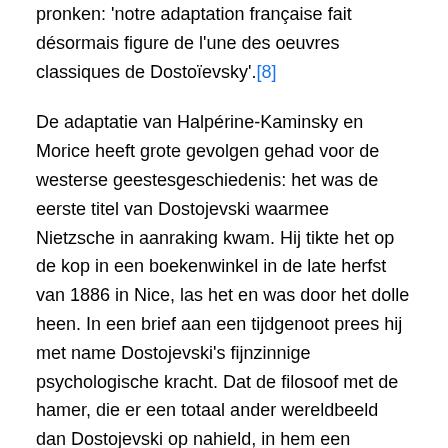pronken: 'notre adaptation française fait désormais figure de l'une des oeuvres classiques de Dostoïevsky'.[8]
De adaptatie van Halpérine-Kaminsky en Morice heeft grote gevolgen gehad voor de westerse geestesgeschiedenis: het was de eerste titel van Dostojevski waarmee Nietzsche in aanraking kwam. Hij tikte het op de kop in een boekenwinkel in de late herfst van 1886 in Nice, las het en was door het dolle heen. In een brief aan een tijdgenoot prees hij met name Dostojevski's fijnzinnige psychologische kracht. Dat de filosoof met de hamer, die er een totaal ander wereldbeeld dan Dostojevski op nahield, in hem een zielsverwant herkende, kan gemakkelijk verklaard worden aan de hand van de vertaling die hij gelezen had. De door de vertalers in het leven geroepen verschuivingen versterken namelijk de indruk dat Dostojevski niet zozeer een satirische